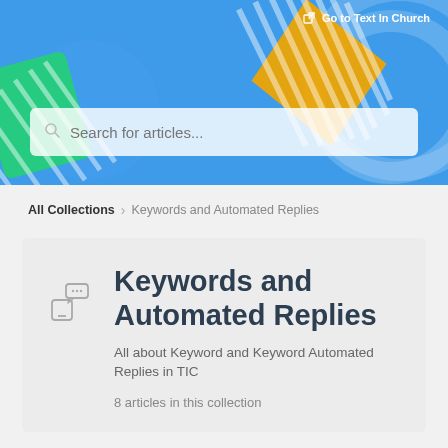[Figure (screenshot): Blue header banner with decorative geometric shapes (orange diagonal-striped diamond, green striped shapes), a search bar with placeholder 'Search for articles...', and a 'Go to Text In Church' link in the top right corner.]
Go to Text In Church
All Collections > Keywords and Automated Replies
Keywords and Automated Replies
All about Keyword and Keyword Automated Replies in TIC
8 articles in this collection